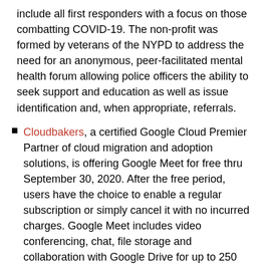include all first responders with a focus on those combatting COVID-19. The non-profit was formed by veterans of the NYPD to address the need for an anonymous, peer-facilitated mental health forum allowing police officers the ability to seek support and education as well as issue identification and, when appropriate, referrals.
Cloudbakers, a certified Google Cloud Premier Partner of cloud migration and adoption solutions, is offering Google Meet for free thru September 30, 2020. After the free period, users have the choice to enable a regular subscription or simply cancel it with no incurred charges. Google Meet includes video conferencing, chat, file storage and collaboration with Google Drive for up to 250 meeting participants or 100,000 livestream viewers. Meetings can be recorded to Drive, along with the access to Docs, Sheets and Slides.